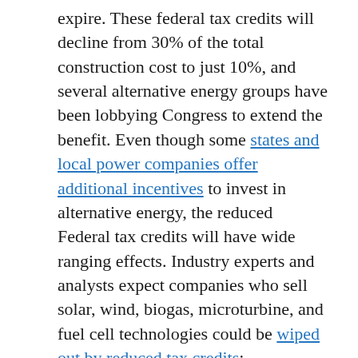expire. These federal tax credits will decline from 30% of the total construction cost to just 10%, and several alternative energy groups have been lobbying Congress to extend the benefit. Even though some states and local power companies offer additional incentives to invest in alternative energy, the reduced Federal tax credits will have wide ranging effects. Industry experts and analysts expect companies who sell solar, wind, biogas, microturbine, and fuel cell technologies could be wiped out by reduced tax credits:
Without the credits, “I’ll essentially be out of business,” Tamas said. “Solar will be dead, other than for a little bit